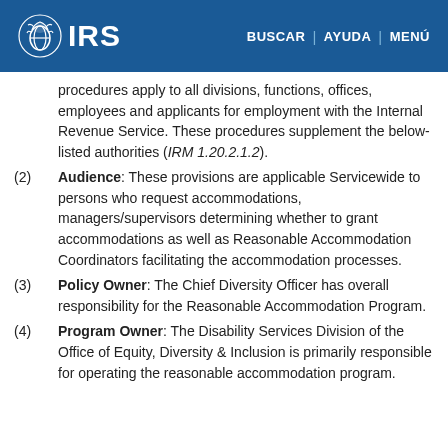IRS | BUSCAR | AYUDA | MENÚ
procedures apply to all divisions, functions, offices, employees and applicants for employment with the Internal Revenue Service. These procedures supplement the below-listed authorities (IRM 1.20.2.1.2).
(2) Audience: These provisions are applicable Servicewide to persons who request accommodations, managers/supervisors determining whether to grant accommodations as well as Reasonable Accommodation Coordinators facilitating the accommodation processes.
(3) Policy Owner: The Chief Diversity Officer has overall responsibility for the Reasonable Accommodation Program.
(4) Program Owner: The Disability Services Division of the Office of Equity, Diversity & Inclusion is primarily responsible for operating the reasonable accommodation program.